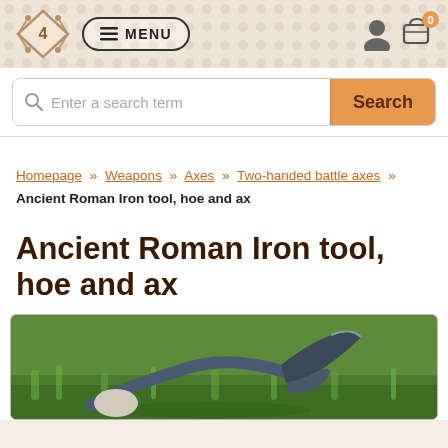MENU | [logo] | [user icon] | [cart 0]
Enter a search term | Search
Homepage » Weapons » Axes » Two-handed battle axes » Ancient Roman Iron tool, hoe and ax
Ancient Roman Iron tool, hoe and ax
[Figure (photo): Photo of an ancient Roman iron tool (hoe and ax) lying on grass, showing a dark metal curved blade]